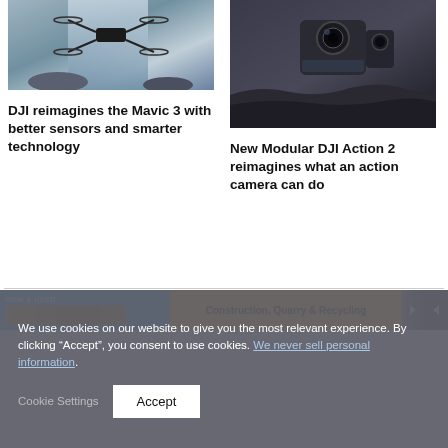[Figure (photo): DJI drone flying in front of a misty waterfall, dark moody tones]
[Figure (photo): DJI Action 2 modular camera floating against dark rocky background]
DJI reimagines the Mavic 3 with better sensors and smarter technology
New Modular DJI Action 2 reimagines what an action camera can do
[Figure (other): Advertisement banner: NEW & USED, Construction, Quarry & Recycling, with yellow construction equipment imagery and navigation arrows]
We use cookies on our website to give you the most relevant experience. By clicking “Accept”, you consent to use cookies. We never sell personal information.
Cookie Settings
Accept